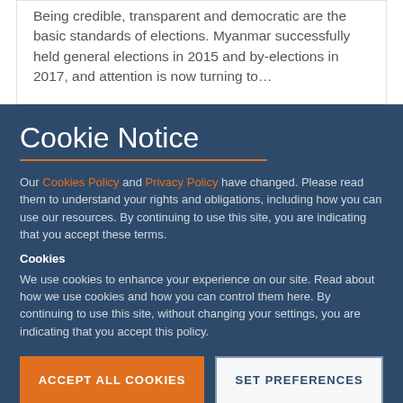Being credible, transparent and democratic are the basic standards of elections. Myanmar successfully held general elections in 2015 and by-elections in 2017, and attention is now turning to…
Cookie Notice
Our Cookies Policy and Privacy Policy have changed. Please read them to understand your rights and obligations, including how you can use our resources. By continuing to use this site, you are indicating that you accept these terms.
Cookies
We use cookies to enhance your experience on our site. Read about how we use cookies and how you can control them here. By continuing to use this site, without changing your settings, you are indicating that you accept this policy.
ACCEPT ALL COOKIES
SET PREFERENCES